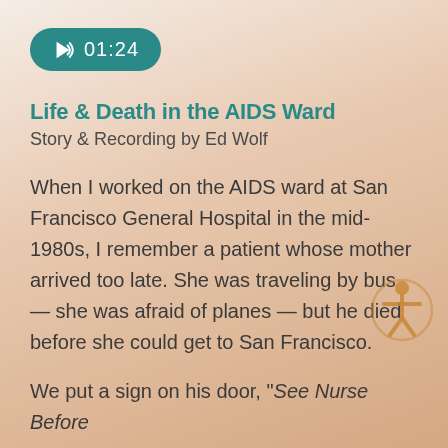[Figure (other): Audio player button showing speaker icon and timestamp 01:24 on teal rounded pill background]
Life & Death in the AIDS Ward
Story & Recording by Ed Wolf
When I worked on the AIDS ward at San Francisco General Hospital in the mid-1980s, I remember a patient whose mother arrived too late. She was traveling by bus — she was afraid of planes — but he died before she could get to San Francisco.
We put a sign on his door, "See Nurse Before
[Figure (illustration): Accessibility icon - human figure with arms outstretched in a circle, in golden/amber color]